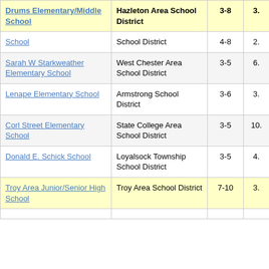| School Name | District | Grades |  |
| --- | --- | --- | --- |
| Drums Elementary/Middle School | Hazleton Area School District | 3-8 | 3. |
| School | School District | 4-8 | 2. |
| Sarah W Starkweather Elementary School | West Chester Area School District | 3-5 | 6. |
| Lenape Elementary School | Armstrong School District | 3-6 | 3. |
| Corl Street Elementary School | State College Area School District | 3-5 | 10. |
| Donald E. Schick School | Loyalsock Township School District | 3-5 | 4. |
| Troy Area Junior/Senior High School | Troy Area School District | 7-10 | 3. |